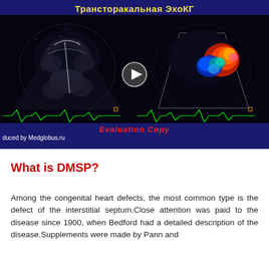[Figure (screenshot): Echocardiography (transthoracic EchoCG) video screenshot with two ultrasound panels: left panel shows a grayscale cardiac ultrasound image, right panel shows the same view with color Doppler overlay (red, orange, blue, green colors indicating blood flow). A play button triangle is visible in the center. Russian text at top reads 'Трансторакальная ЭхоКГ'. Text 'Evaluation Copy' in red italic at the bottom center. 'produced by Medglobus.ru' in white at bottom left.]
What is DMSP?
Among the congenital heart defects, the most common type is the defect of the interstitial septum.Close attention was paid to the disease since 1900, when Bedford had a detailed description of the disease.Supplements were made by Pann and